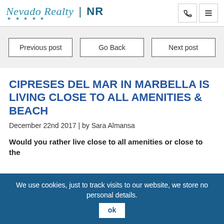Nevado Realty | NR
Previous post
Go Back
Next post
CIPRESES DEL MAR IN MARBELLA IS LIVING CLOSE TO ALL AMENITIES & BEACH
December 22nd 2017 | by Sara Almansa
Would you rather live close to all amenities or close to the beach? Cipreses del...
We use cookies, just to track visits to our website, we store no personal details.